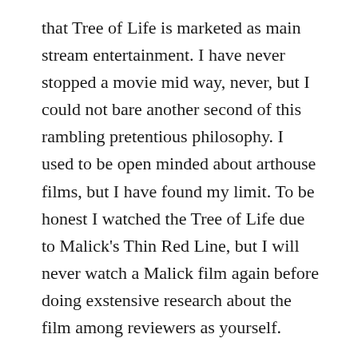that Tree of Life is marketed as main stream entertainment. I have never stopped a movie mid way, never, but I could not bare another second of this rambling pretentious philosophy. I used to be open minded about arthouse films, but I have found my limit. To be honest I watched the Tree of Life due to Malick's Thin Red Line, but I will never watch a Malick film again before doing exstensive research about the film among reviewers as yourself.
Damn that was terrible!!!!!!!